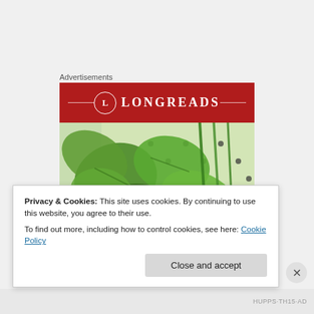Advertisements
[Figure (logo): Longreads logo on red background with circle L emblem and horizontal decorative lines]
[Figure (photo): Close-up photograph of green herbs and leafy vegetables on a white perforated surface]
Privacy & Cookies: This site uses cookies. By continuing to use this website, you agree to their use.
To find out more, including how to control cookies, see here: Cookie Policy
Close and accept